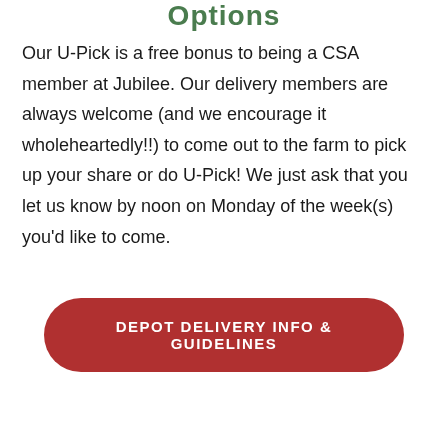Options
Our U-Pick is a free bonus to being a CSA member at Jubilee. Our delivery members are always welcome (and we encourage it wholeheartedly!!) to come out to the farm to pick up your share or do U-Pick! We just ask that you let us know by noon on Monday of the week(s) you’d like to come.
DEPOT DELIVERY INFO & GUIDELINES